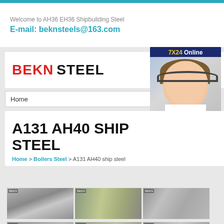Welcome to AH36 EH36 Shipbuilding Steel
E-mail: beknsteels@163.com
[Figure (logo): BEKN STEEL company logo in red and black bold text]
Home
[Figure (photo): Customer service representative with headset, 7X24 Online chat widget, Hello may I help you? Get Latest Price button]
A131 AH40 SHIP STEEL
Home > Boilers Steel > A131 AH40 ship steel
[Figure (photo): Six steel product images in a 3-column grid showing steel coils, rods, and pipes]